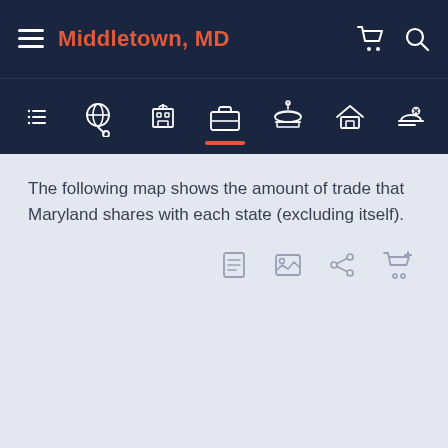Middletown, MD
The following map shows the amount of trade that Maryland shares with each state (excluding itself).
[Figure (other): Action toolbar with document, image, share, and cart icons]